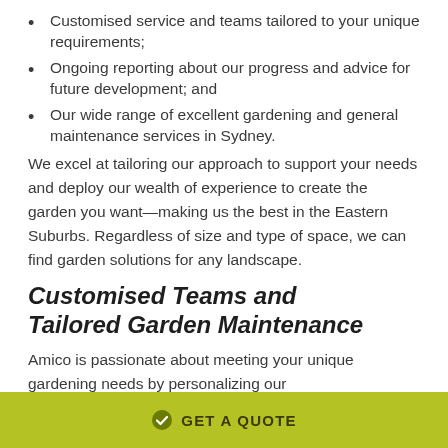Customised service and teams tailored to your unique requirements;
Ongoing reporting about our progress and advice for future development; and
Our wide range of excellent gardening and general maintenance services in Sydney.
We excel at tailoring our approach to support your needs and deploy our wealth of experience to create the garden you want—making us the best in the Eastern Suburbs. Regardless of size and type of space, we can find garden solutions for any landscape.
Customised Teams and Tailored Garden Maintenance
Amico is passionate about meeting your unique gardening needs by personalizing our
GET A QUOTE